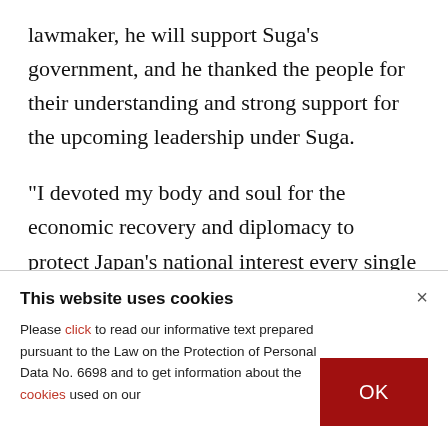lawmaker, he will support Suga's government, and he thanked the people for their understanding and strong support for the upcoming leadership under Suga.
"I devoted my body and soul for the economic recovery and diplomacy to protect Japan’s national interest every single day since we returned to power,” Abe told reporters at the prime minister’s office before heading into his final Cabinet
This website uses cookies
Please click to read our informative text prepared pursuant to the Law on the Protection of Personal Data No. 6698 and to get information about the cookies used on our